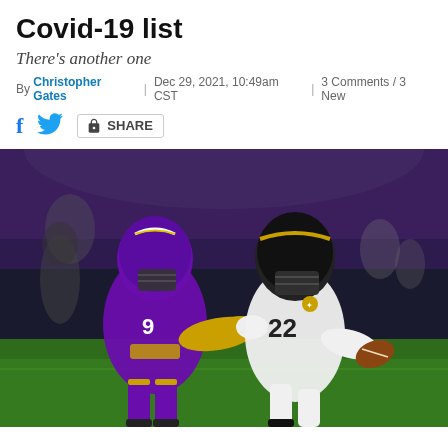Covid-19 list
There's another one
By Christopher Gates | Dec 29, 2021, 10:49am CST | 3 Comments / 3 New
[Figure (photo): Pittsburgh Steelers running back #22 in white and gold uniform stiff-arms a Minnesota Vikings defender in purple and gold uniform during an NFL game indoors. Action shot close-up.]